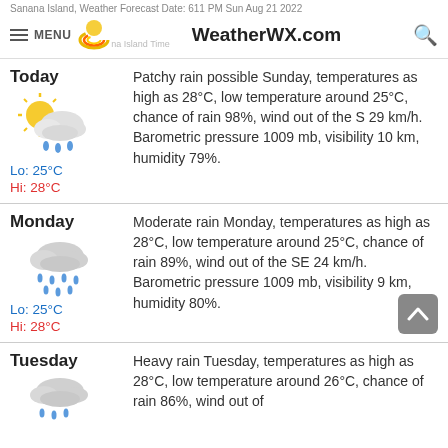Sanana Island, Weather Forecast Date: 611 PM Sun Aug 21 2022
MENU   WeatherWX.com   🔍
Today
Lo: 25°C
Hi: 28°C
Patchy rain possible Sunday, temperatures as high as 28°C, low temperature around 25°C, chance of rain 98%, wind out of the S 29 km/h. Barometric pressure 1009 mb, visibility 10 km, humidity 79%.
Monday
Lo: 25°C
Hi: 28°C
Moderate rain Monday, temperatures as high as 28°C, low temperature around 25°C, chance of rain 89%, wind out of the SE 24 km/h. Barometric pressure 1009 mb, visibility 9 km, humidity 80%.
Tuesday
Heavy rain Tuesday, temperatures as high as 28°C, low temperature around 26°C, chance of rain 86%, wind out of